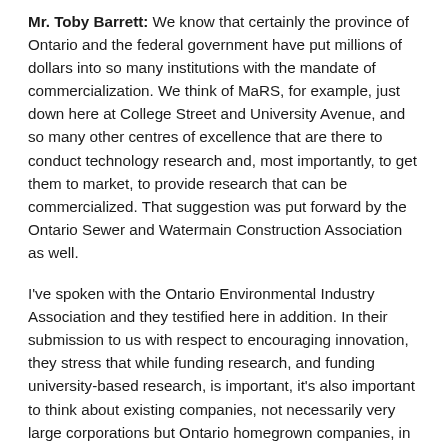Mr. Toby Barrett: We know that certainly the province of Ontario and the federal government have put millions of dollars into so many institutions with the mandate of commercialization. We think of MaRS, for example, just down here at College Street and University Avenue, and so many other centres of excellence that are there to conduct technology research and, most importantly, to get them to market, to provide research that can be commercialized. That suggestion was put forward by the Ontario Sewer and Watermain Construction Association as well.
I've spoken with the Ontario Environmental Industry Association and they testified here in addition. In their submission to us with respect to encouraging innovation, they stress that while funding research, and funding university-based research, is important, it's also important to think about existing companies, not necessarily very large corporations but Ontario homegrown companies, in